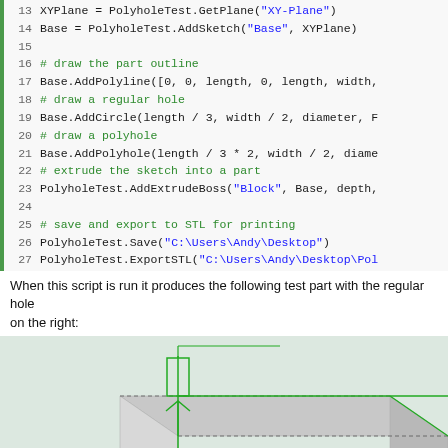Code block showing Python script lines 13-27 for PolyholeTest CAD automation
When this script is run it produces the following test part with the regular hole on the left and the polyhole on the right:
[Figure (engineering-diagram): 3D CAD rendering of a rectangular block with two holes - a regular circular hole on the left and a polygonal polyhole on the right, shown with green sketch lines and dimension markers in a CAD software viewport with light blue-green background]